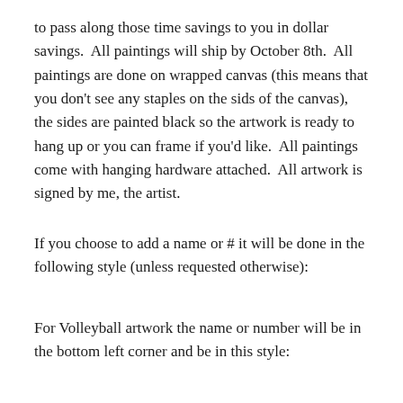to pass along those time savings to you in dollar savings. All paintings will ship by October 8th. All paintings are done on wrapped canvas (this means that you don't see any staples on the sids of the canvas), the sides are painted black so the artwork is ready to hang up or you can frame if you'd like. All paintings come with hanging hardware attached. All artwork is signed by me, the artist.
If you choose to add a name or # it will be done in the following style (unless requested otherwise):
For Volleyball artwork the name or number will be in the bottom left corner and be in this style: